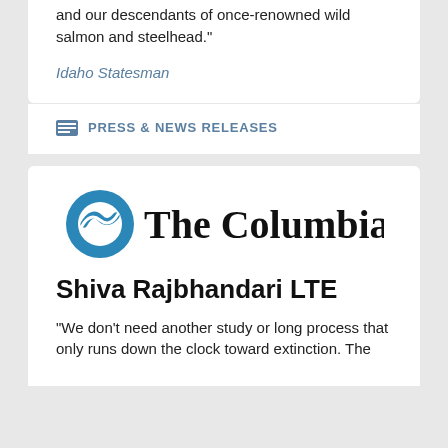and our descendants of once-renowned wild salmon and steelhead."
Idaho Statesman
PRESS & NEWS RELEASES
[Figure (logo): The Columbian newspaper logo with blue circular arrow icon and serif text 'The Columbian']
Shiva Rajbhandari LTE
"We don't need another study or long process that only runs down the clock toward extinction. The